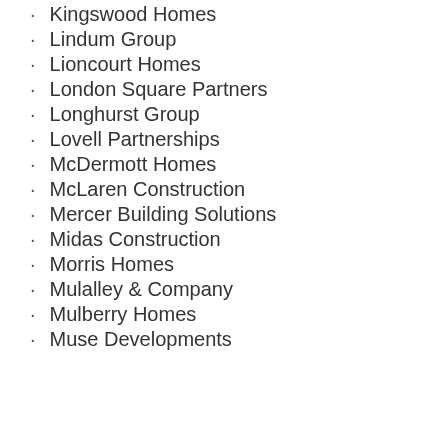Kingswood Homes
Lindum Group
Lioncourt Homes
London Square Partners
Longhurst Group
Lovell Partnerships
McDermott Homes
McLaren Construction
Mercer Building Solutions
Midas Construction
Morris Homes
Mulalley & Company
Mulberry Homes
Muse Developments